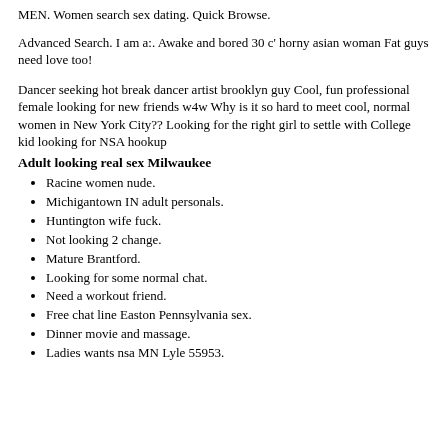MEN. Women search sex dating. Quick Browse.
Advanced Search. I am a:. Awake and bored 30 c' horny asian woman Fat guys need love too!
Dancer seeking hot break dancer artist brooklyn guy Cool, fun professional female looking for new friends w4w Why is it so hard to meet cool, normal women in New York City?? Looking for the right girl to settle with College kid looking for NSA hookup
Adult looking real sex Milwaukee
Racine women nude.
Michigantown IN adult personals.
Huntington wife fuck.
Not looking 2 change.
Mature Brantford.
Looking for some normal chat.
Need a workout friend.
Free chat line Easton Pennsylvania sex.
Dinner movie and massage.
Ladies wants nsa MN Lyle 55953.